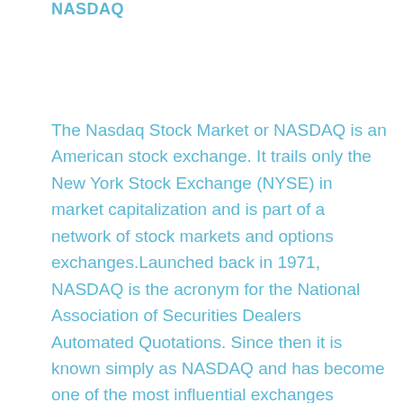NASDAQ
The Nasdaq Stock Market or NASDAQ is an American stock exchange. It trails only the New York Stock Exchange (NYSE) in market capitalization and is part of a network of stock markets and options exchanges.Launched back in 1971, NASDAQ is the acronym for the National Association of Securities Dealers Automated Quotations. Since then it is known simply as NASDAQ and has become one of the most influential exchanges worldwide.The NASDAQ was the world's first electronic